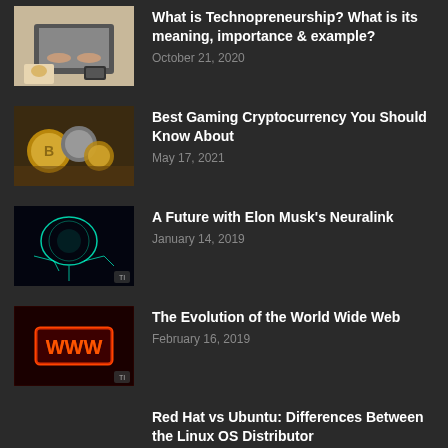[Figure (photo): Person typing on laptop with coffee and smartphone on desk, overhead view]
What is Technopreneurship? What is its meaning, importance & example?
October 21, 2020
[Figure (photo): Bitcoin and other cryptocurrency coins held in hands]
Best Gaming Cryptocurrency You Should Know About
May 17, 2021
[Figure (photo): Digital brain made of circuit connections on dark background, neural network concept]
A Future with Elon Musk's Neuralink
January 14, 2019
[Figure (photo): Glowing WWW neon sign on red digital background]
The Evolution of the World Wide Web
February 16, 2019
Red Hat vs Ubuntu: Differences Between the Linux OS Distributor
August 30, 2018